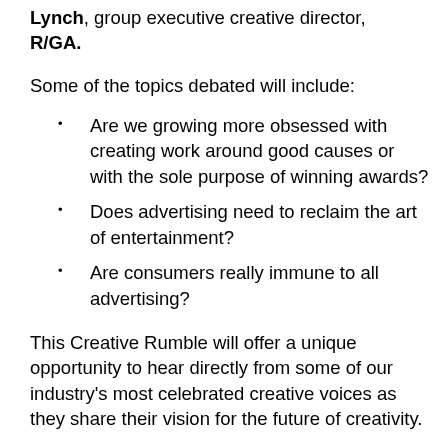Lynch, group executive creative director, R/GA.
Some of the topics debated will include:
Are we growing more obsessed with creating work around good causes or with the sole purpose of winning awards?
Does advertising need to reclaim the art of entertainment?
Are consumers really immune to all advertising?
This Creative Rumble will offer a unique opportunity to hear directly from some of our industry's most celebrated creative voices as they share their vision for the future of creativity.
It will be followed by a panel discussion